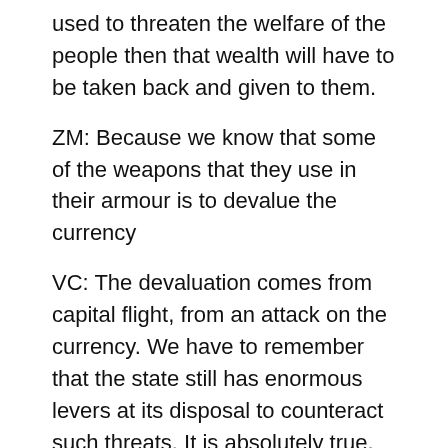used to threaten the welfare of the people then that wealth will have to be taken back and given to them.
ZM: Because we know that some of the weapons that they use in their armour is to devalue the currency
VC: The devaluation comes from capital flight, from an attack on the currency. We have to remember that the state still has enormous levers at its disposal to counteract such threats. It is absolutely true, as economists will point out, that for a single country to try to wage this war against capital on its own is very hard. But we all have to start somewhere. The doom and gloom that we envelop ourselves in pointing to internationalisation of capital, to globalisation etc. is a